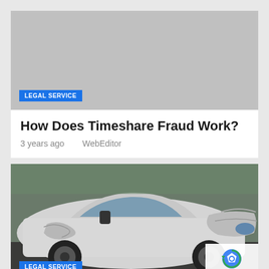[Figure (photo): Gray placeholder image with a 'LEGAL SERVICE' blue badge at the bottom left]
How Does Timeshare Fraud Work?
3 years ago    WebEditor
[Figure (photo): Photo of a heavily damaged white car with crumpled front end and dented door, with a 'LEGAL SERVICE' blue badge at the bottom left and a reCAPTCHA widget at the bottom right]